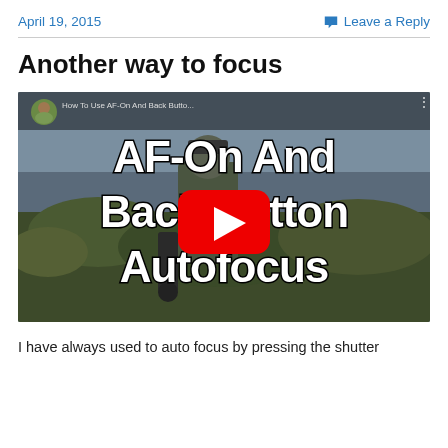April 19, 2015   Leave a Reply
Another way to focus
[Figure (screenshot): YouTube video thumbnail for 'How To Use AF-On And Back Button Autofocus' showing a photographer outdoors with large text overlay reading 'AF-On And Back Button Autofocus' and a YouTube play button in the center.]
I have always used to auto focus by pressing the shutter